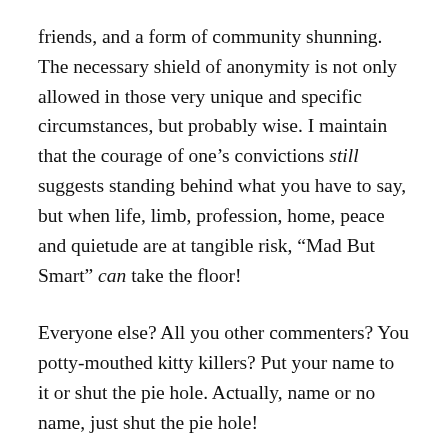friends, and a form of community shunning. The necessary shield of anonymity is not only allowed in those very unique and specific circumstances, but probably wise. I maintain that the courage of one's convictions still suggests standing behind what you have to say, but when life, limb, profession, home, peace and quietude are at tangible risk, “Mad But Smart” can take the floor!
Everyone else? All you other commenters? You potty-mouthed kitty killers? Put your name to it or shut the pie hole. Actually, name or no name, just shut the pie hole!